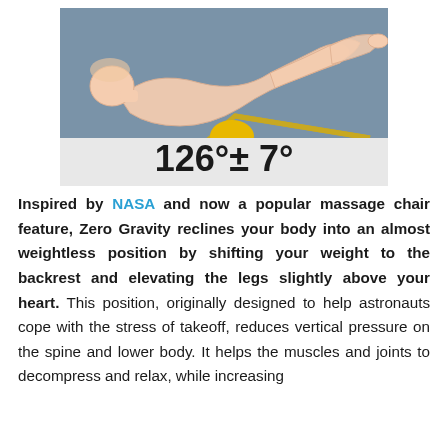[Figure (illustration): Illustration of a person in zero-gravity reclined position on a angled chair frame, showing the body at 126 degrees plus or minus 7 degrees. Background is steel blue/grey. A gold/yellow angled line represents the chair frame. A yellow cushion is shown under the knees. Text at bottom reads '126°± 7°'.]
Inspired by NASA and now a popular massage chair feature, Zero Gravity reclines your body into an almost weightless position by shifting your weight to the backrest and elevating the legs slightly above your heart. This position, originally designed to help astronauts cope with the stress of takeoff, reduces vertical pressure on the spine and lower body. It helps the muscles and joints to decompress and relax, while increasing